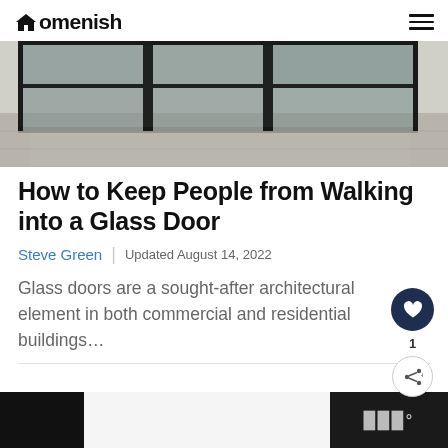Homenish
[Figure (photo): Glass door facade of a modern building with black aluminum frames and reflective glass panels, light-colored tiled floor visible]
How to Keep People from Walking into a Glass Door
Steve Green | Updated August 14, 2022
Glass doors are a sought-after architectural element in both commercial and residential buildings…